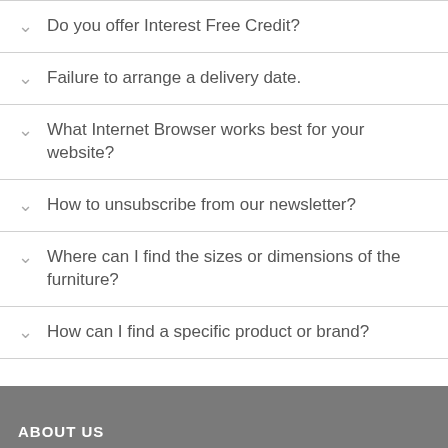Do you offer Interest Free Credit?
Failure to arrange a delivery date.
What Internet Browser works best for your website?
How to unsubscribe from our newsletter?
Where can I find the sizes or dimensions of the furniture?
How can I find a specific product or brand?
ABOUT US